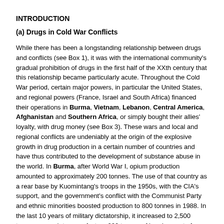INTRODUCTION
(a) Drugs in Cold War Conflicts
While there has been a longstanding relationship between drugs and conflicts (see Box 1), it was with the international community's gradual prohibition of drugs in the first half of the XXth century that this relationship became particularly acute. Throughout the Cold War period, certain major powers, in particular the United States, and regional powers (France, Israel and South Africa) financed their operations in Burma, Vietnam, Lebanon, Central America, Afghanistan and Southern Africa, or simply bought their allies' loyalty, with drug money (see Box 3). These wars and local and regional conflicts are undeniably at the origin of the explosive growth in drug production in a certain number of countries and have thus contributed to the development of substance abuse in the world. In Burma, after World War I, opium production amounted to approximately 200 tonnes. The use of that country as a rear base by Kuomintang's troops in the 1950s, with the CIA's support, and the government's conflict with the Communist Party and ethnic minorities boosted production to 800 tonnes in 1988. In the last 10 years of military dictatorship, it increased to 2,500 tonnes, enough to manufacture 220 tonnes of heroin, most of which was exported.